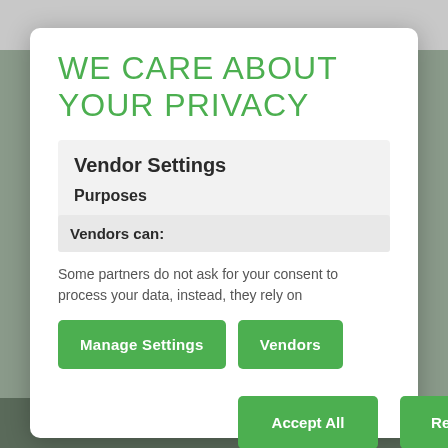WE CARE ABOUT YOUR PRIVACY
Vendor Settings
Purposes
Vendors can:
Some partners do not ask for your consent to process your data, instead, they rely on
Manage Settings
Vendors
Accept All
Reject All
Save & Exit